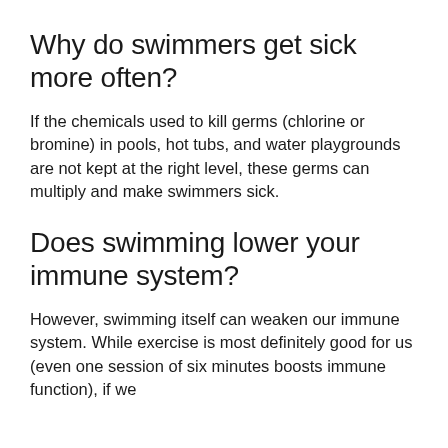Why do swimmers get sick more often?
If the chemicals used to kill germs (chlorine or bromine) in pools, hot tubs, and water playgrounds are not kept at the right level, these germs can multiply and make swimmers sick.
Does swimming lower your immune system?
However, swimming itself can weaken our immune system. While exercise is most definitely good for us (even one session of six minutes boosts immune function), if we